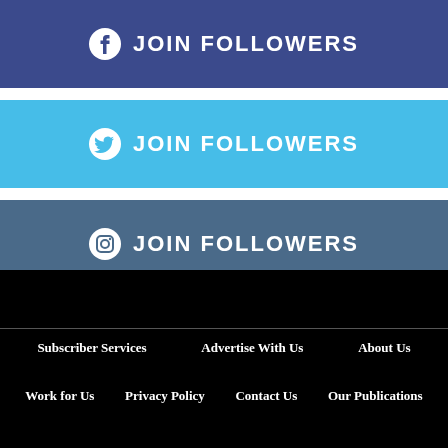[Figure (infographic): Facebook JOIN FOLLOWERS button — dark blue/indigo banner with Facebook icon and white text]
[Figure (infographic): Twitter JOIN FOLLOWERS button — sky blue banner with Twitter bird icon and white text]
[Figure (infographic): Instagram JOIN FOLLOWERS button — steel blue banner with Instagram icon and white text]
Subscriber Services   Advertise With Us   About Us   Work for Us   Privacy Policy   Contact Us   Our Publications